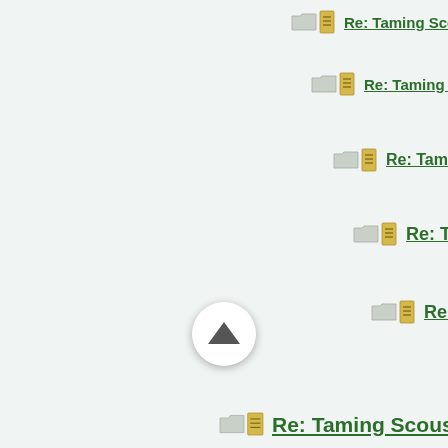Re: Taming Scouser
Re: Taming Scouser
Re: Taming Scouser
Re: Taming Scouser
Re: Taming Scouser
Re: Taming Scouser
Re: Taming Scouser
Re: Taming Scouser
Re: Taming Scouser
Re: Taming Scouser
Re: Taming Scouser
Re: Taming Scouser
Re: Taming Scouser
Re: Taming Scouser